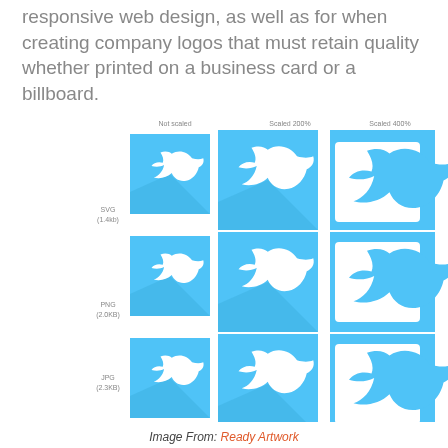responsive web design, as well as for when creating company logos that must retain quality whether printed on a business card or a billboard.
[Figure (infographic): Comparison of SVG, PNG, and JPG Twitter logo images at three scales: Not scaled, Scaled 200%, Scaled 400%. SVG (1.4kb) retains quality at all scales, PNG (2.0KB) and JPG (2.3KB) lose quality at higher scales.]
Image From: Ready Artwork